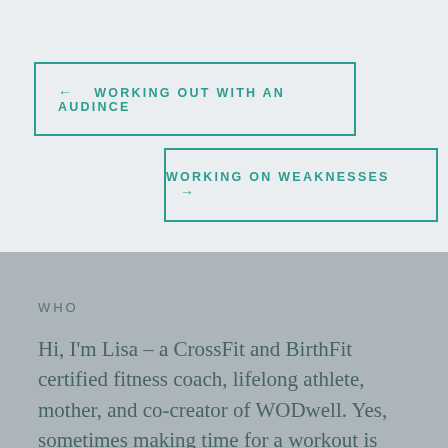← WORKING OUT WITH AN AUDINCE
WORKING ON WEAKNESSES →
WHO
Hi, I'm Lisa – a CrossFit and BirthFit certified fitness coach, lifelong athlete, mother, and co-creator of WODwell. Yes, sometimes making time for a workout is tough, but it's an